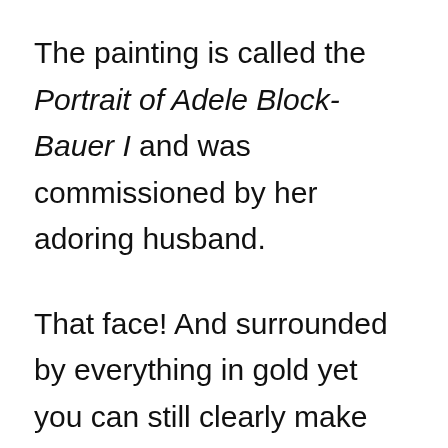The painting is called the Portrait of Adele Block-Bauer I and was commissioned by her adoring husband.
That face! And surrounded by everything in gold yet you can still clearly make out her stunning dress.
I've never seen anything like this: the